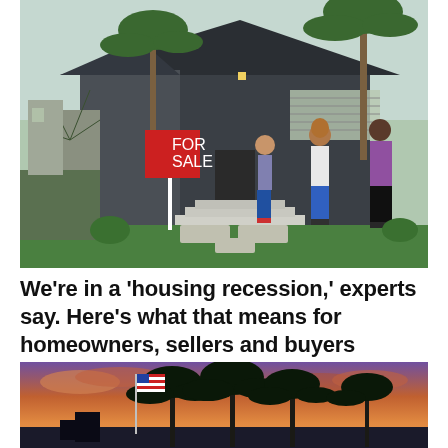[Figure (photo): Three women walking toward a house with a 'FOR SALE' sign in the front yard. The house is a dark gray/charcoal single-story home with large windows, steps leading to the front door, and tropical plants in the yard.]
We're in a 'housing recession,' experts say. Here's what that means for homeowners, sellers and buyers
[Figure (photo): Sunset scene with palm trees and an American flag against a colorful orange and purple sky.]